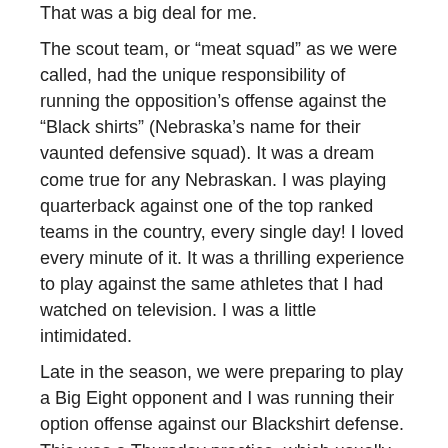That was a big deal for me.
The scout team, or “meat squad” as we were called, had the unique responsibility of running the opposition’s offense against the “Black shirts” (Nebraska’s name for their vaunted defensive squad). It was a dream come true for any Nebraskan. I was playing quarterback against one of the top ranked teams in the country, every single day! I loved every minute of it. It was a thrilling experience to play against the same athletes that I had watched on television. I was a little intimidated.
Late in the season, we were preparing to play a Big Eight opponent and I was running their option offense against our Blackshirt defense. This was a Thursday practice, which usually meant that it was a light practice, with no contact. On those days, we only wore shoulder pads, helmets and shorts. It was considered the last major run-through of preparation before game day. It was not designed to be very physical, but the intensity was high. It was during these practices that the coaches made certain